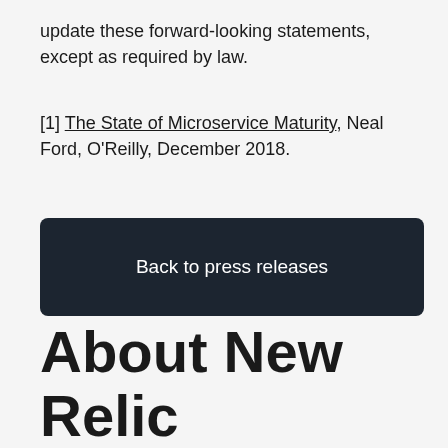update these forward-looking statements, except as required by law.
[1] The State of Microservice Maturity, Neal Ford, O'Reilly, December 2018.
Back to press releases
About New Relic